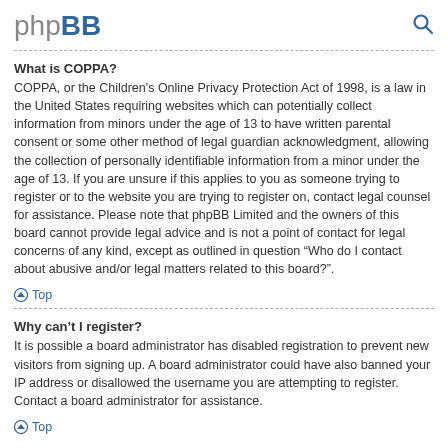phpBB
What is COPPA?
COPPA, or the Children's Online Privacy Protection Act of 1998, is a law in the United States requiring websites which can potentially collect information from minors under the age of 13 to have written parental consent or some other method of legal guardian acknowledgment, allowing the collection of personally identifiable information from a minor under the age of 13. If you are unsure if this applies to you as someone trying to register or to the website you are trying to register on, contact legal counsel for assistance. Please note that phpBB Limited and the owners of this board cannot provide legal advice and is not a point of contact for legal concerns of any kind, except as outlined in question “Who do I contact about abusive and/or legal matters related to this board?”.
Top
Why can’t I register?
It is possible a board administrator has disabled registration to prevent new visitors from signing up. A board administrator could have also banned your IP address or disallowed the username you are attempting to register. Contact a board administrator for assistance.
Top